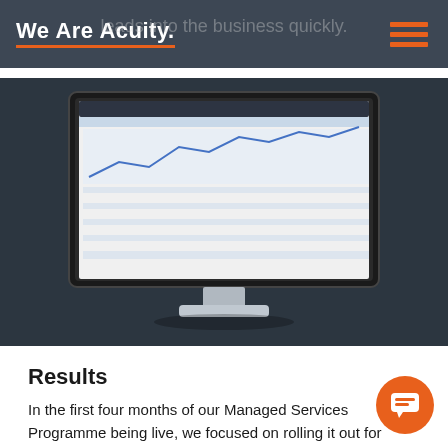We Are Acuity.
leads into the business quickly.
[Figure (screenshot): A desktop computer monitor displaying a financial data management software interface with charts and spreadsheet data, shown on a dark background.]
Results
In the first four months of our Managed Services Programme being live, we focused on rolling it out for